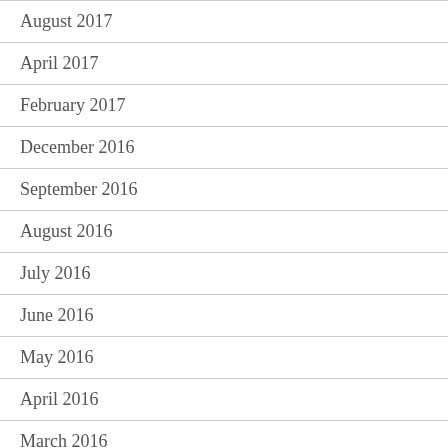August 2017
April 2017
February 2017
December 2016
September 2016
August 2016
July 2016
June 2016
May 2016
April 2016
March 2016
February 2016
January 2016